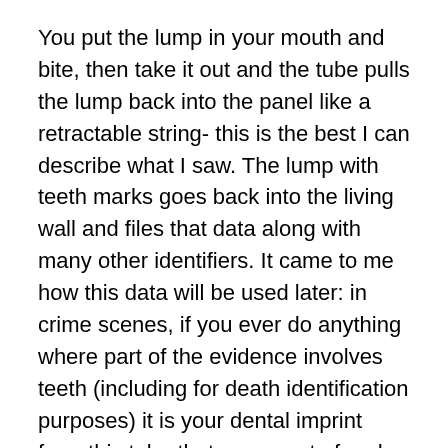You put the lump in your mouth and bite, then take it out and the tube pulls the lump back into the panel like a retractable string- this is the best I can describe what I saw. The lump with teeth marks goes back into the living wall and files that data along with many other identifiers. It came to me how this data will be used later: in crime scenes, if you ever do anything where part of the evidence involves teeth (including for death identification purposes) it is your dental imprint from this tube that grows out of and back into that glowing wall, that will be used against you.
To think that this was part of “required banking info” was shocking to me yet people lined up to bite that glowing plastic lump. They gave so much biometric data to the Beast that it was astounding. Fingerprints